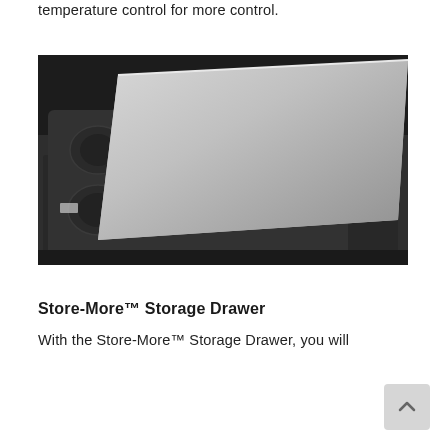temperature control for more control.
[Figure (photo): Close-up photograph of dark non-stick baking pans and trays stacked, with a shiny silver metallic baking sheet or lid placed on top of a muffin/cupcake pan, all resting in a dark storage drawer.]
Store-More™ Storage Drawer
With the Store-More™ Storage Drawer, you will